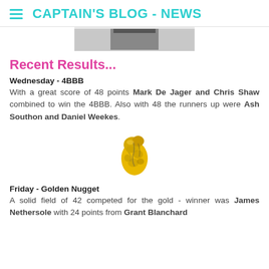CAPTAIN'S BLOG - NEWS
[Figure (photo): Top portion of a photo, partially cropped, showing what appears to be a dark object on a light background.]
Recent Results...
Wednesday - 4BBB
With a great score of 48 points Mark De Jager and Chris Shaw combined to win the 4BBB. Also with 48 the runners up were Ash Southon and Daniel Weekes.
[Figure (photo): A golden nugget (gold nugget trophy or prize), pear-shaped, gold and black coloured, on a white background.]
Friday - Golden Nugget
A solid field of 42 competed for the gold - winner was James Nethersole with 24 points from Grant Blanchard